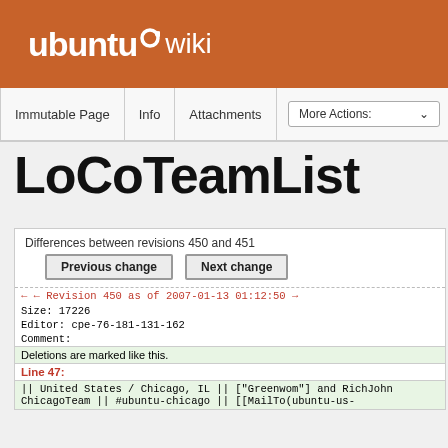ubuntu wiki
Immutable Page | Info | Attachments | More Actions:
LoCoTeamList
Differences between revisions 450 and 451
Previous change   Next change
| ← ← Revision 450 as of 2007-01-13 01:12:50 → |
| Size: 17226 |
| Editor: cpe-76-181-131-162 |
| Comment: |
| Deletions are marked like this. |
| Line 47: |
| || United States / Chicago, IL || ["Greenwom"] and RichJohn ChicagoTeam || #ubuntu-chicago || [[MailTo(ubuntu-us- |